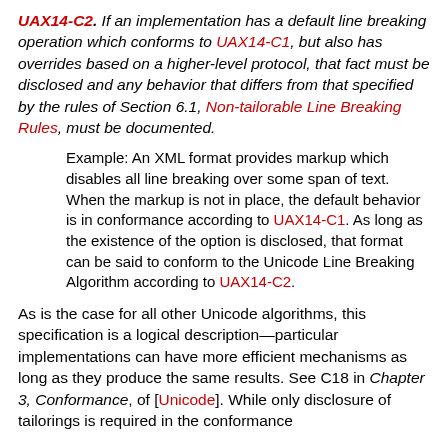UAX14-C2. If an implementation has a default line breaking operation which conforms to UAX14-C1, but also has overrides based on a higher-level protocol, that fact must be disclosed and any behavior that differs from that specified by the rules of Section 6.1, Non-tailorable Line Breaking Rules, must be documented.
Example: An XML format provides markup which disables all line breaking over some span of text. When the markup is not in place, the default behavior is in conformance according to UAX14-C1. As long as the existence of the option is disclosed, that format can be said to conform to the Unicode Line Breaking Algorithm according to UAX14-C2.
As is the case for all other Unicode algorithms, this specification is a logical description—particular implementations can have more efficient mechanisms as long as they produce the same results. See C18 in Chapter 3, Conformance, of [Unicode]. While only disclosure of tailorings is required in the conformance